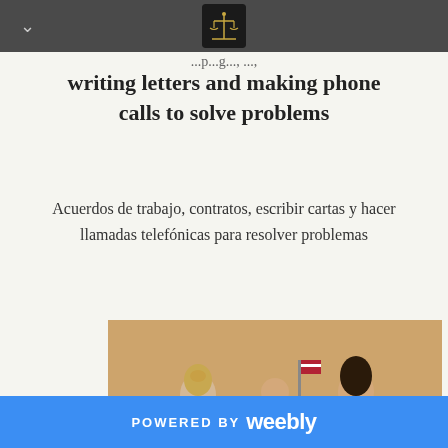writing letters and making phone calls to solve problems
Acuerdos de trabajo, contratos, escribir cartas y hacer llamadas telefónicas para resolver problemas
[Figure (photo): Two women in business suits in a courtroom, one handing something to the other, with a judge seated in the background and an American flag visible.]
POWERED BY weebly